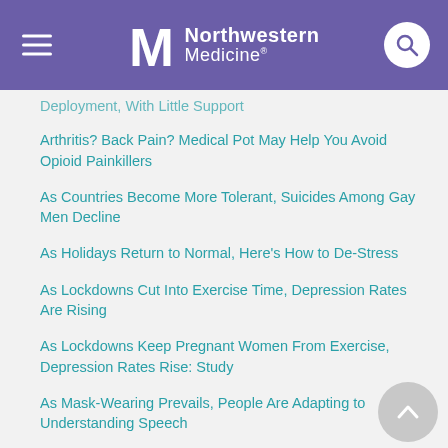Northwestern Medicine
Deployment, With Little Support
Arthritis? Back Pain? Medical Pot May Help You Avoid Opioid Painkillers
As Countries Become More Tolerant, Suicides Among Gay Men Decline
As Holidays Return to Normal, Here's How to De-Stress
As Lockdowns Cut Into Exercise Time, Depression Rates Are Rising
As Lockdowns Keep Pregnant Women From Exercise, Depression Rates Rise: Study
As Mask-Wearing Prevails, People Are Adapting to Understanding Speech
As Pandemic Eases, It's Boom Times for